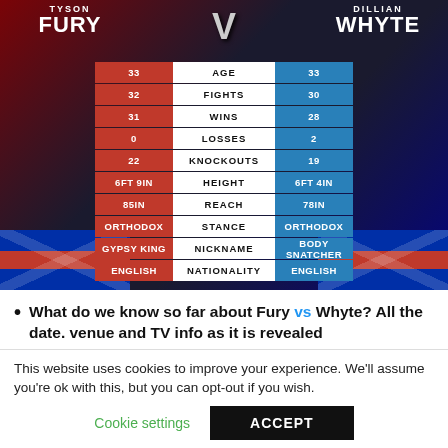[Figure (infographic): Tyson Fury vs Dillian Whyte boxing comparison infographic with stats table showing Age, Fights, Wins, Losses, Knockouts, Height, Reach, Stance, Nickname, Nationality for both fighters against a dark background with Union Jack flags]
What do we know so far about Fury vs Whyte? All the date. venue and TV info as it is revealed
This website uses cookies to improve your experience. We'll assume you're ok with this, but you can opt-out if you wish.
Cookie settings   ACCEPT